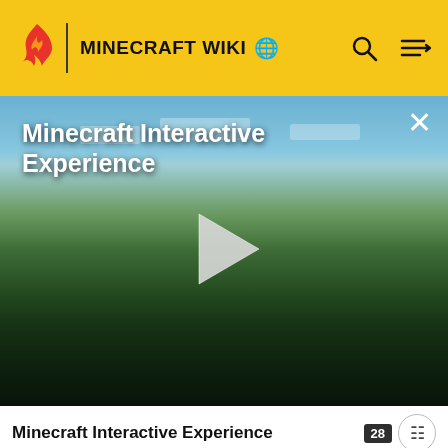MINECRAFT WIKI
[Figure (screenshot): Minecraft Interactive Experience video thumbnail showing a Minecraft landscape with grass fields, trees, and blue sky. A large white play button triangle is centered on the image. Title 'Minecraft Interactive Experience' appears in white text at top left. An X close button is at top right.]
Minecraft Interactive Experience
|  | Name | Type |
| --- | --- | --- |
| [pickaxe icon] | Hunter | hostile
monster |